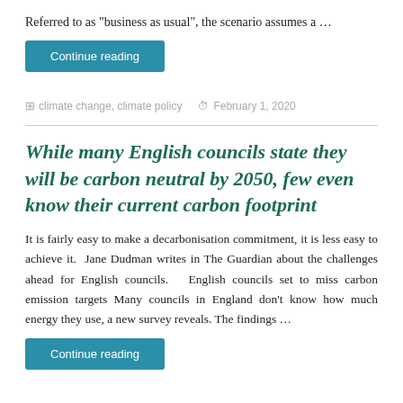Referred to as "business as usual", the scenario assumes a …
Continue reading
climate change, climate policy   February 1, 2020
While many English councils state they will be carbon neutral by 2050, few even know their current carbon footprint
It is fairly easy to make a decarbonisation commitment, it is less easy to achieve it.  Jane Dudman writes in The Guardian about the challenges ahead for English councils.   English councils set to miss carbon emission targets Many councils in England don't know how much energy they use, a new survey reveals. The findings …
Continue reading